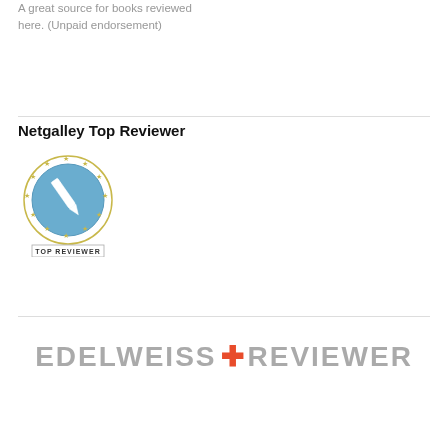A great source for books reviewed here. (Unpaid endorsement)
Netgalley Top Reviewer
[Figure (logo): Netgalley Top Reviewer badge: a blue circle with a pen/pencil icon and stars around it, with 'TOP REVIEWER' text below]
[Figure (logo): Edelweiss+ Reviewer logo in gray uppercase letters with an orange plus sign]